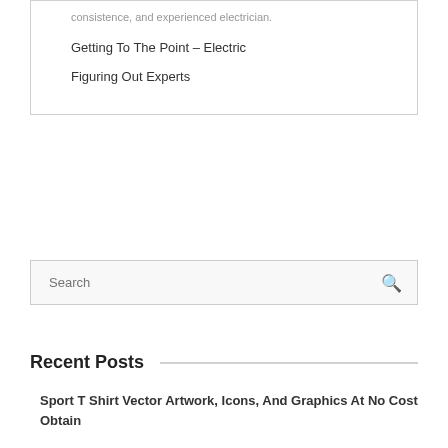consistence, and experienced electrician.
Getting To The Point – Electric
Figuring Out Experts
Recent Posts
Sport T Shirt Vector Artwork, Icons, And Graphics At No Cost Obtain